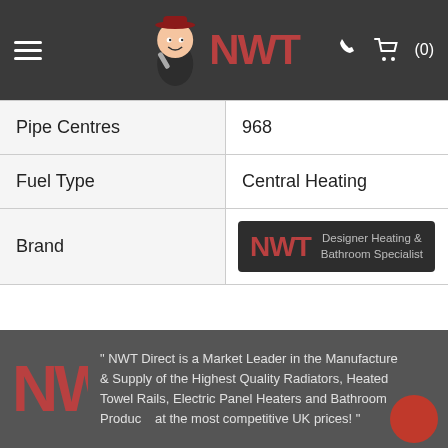NWT - Designer Heating & Bathroom Specialist
| Pipe Centres | 968 |
| Fuel Type | Central Heating |
| Brand | NWT Designer Heating & Bathroom Specialist |
DOWNLOADS
Technical Drawing
" NWT Direct is a Market Leader in the Manufacture & Supply of the Highest Quality Radiators, Heated Towel Rails, Electric Panel Heaters and Bathroom Products at the most competitive UK prices! "